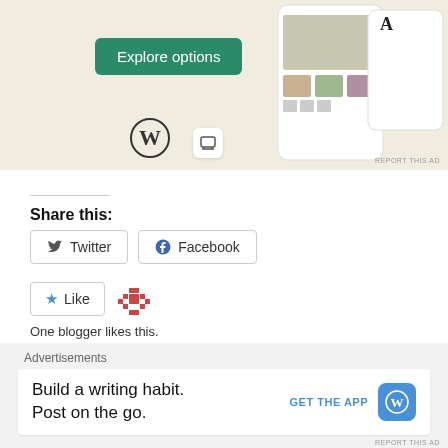[Figure (screenshot): Advertisement banner with green 'Explore options' button, WordPress logo, and phone mockup showing food website UI on beige background]
Share this:
Twitter  Facebook
Like  One blogger likes this.
Setting Ourselves Up for
Fear of Missing Out
Advertisements
[Figure (screenshot): Bottom advertisement: 'Build a writing habit. Post on the go.' with GET THE APP button and WordPress icon]